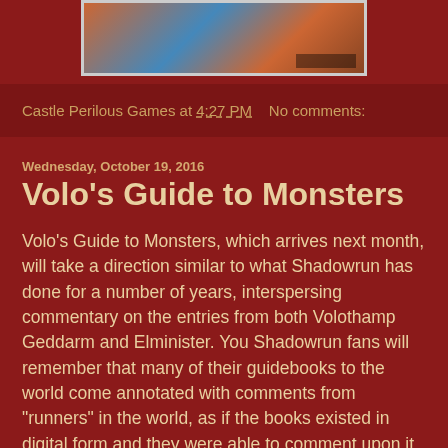[Figure (photo): Book cover image partially visible at top of page]
Castle Perilous Games at 4:27 PM    No comments:
Wednesday, October 19, 2016
Volo's Guide to Monsters
Volo's Guide to Monsters, which arrives next month, will take a direction similar to what Shadowrun has done for a number of years, interspersing commentary on the entries from both Volothamp Geddarm and Elminister. You Shadowrun fans will remember that many of their guidebooks to the world come annotated with comments from "runners" in the world, as if the books existed in digital form and they were able to comment upon it. Such comments could clarify points, obscure them or even offer adventure hooks. Hopefully, the comments added to the Volo's Guide will prove similar.